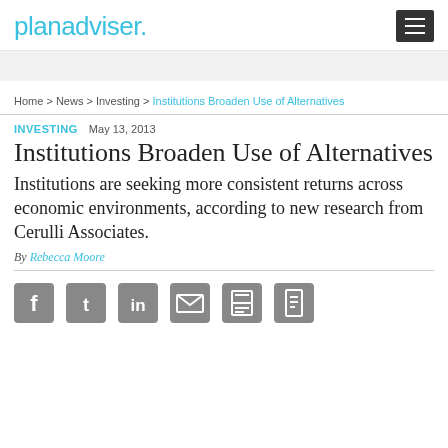planadviser
Home > News > Investing > Institutions Broaden Use of Alternatives
INVESTING  May 13, 2013
Institutions Broaden Use of Alternatives
Institutions are seeking more consistent returns across economic environments, according to new research from Cerulli Associates.
By Rebecca Moore
[Figure (infographic): Social sharing icons: Facebook, Twitter, LinkedIn, Email, Print, Document]